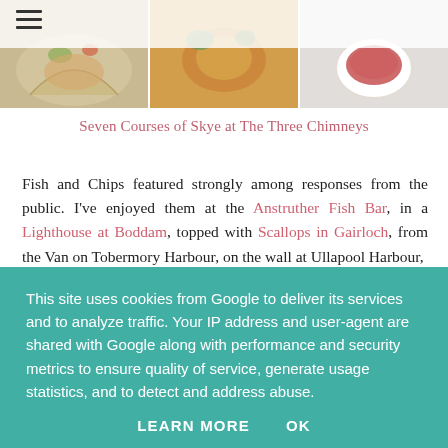[Figure (photo): A strip of three food photos: left shows a seafood dish in a shell with vegetables, center shows breaded food with greens, right shows a white cup with red/brown liquid (soup or sauce)]
hamburger menu icon
Seven Courses of Skye at The Three Chimneys
Fish and Chips featured strongly among responses from the public. I've enjoyed them at the Anstruther Fish Bar, in a Lighthouse at Boddam, topped with Scallops in Gairloch, from the Van on Tobermory Harbour, on the wall at Ullapool Harbour,
This site uses cookies from Google to deliver its services and to analyze traffic. Your IP address and user-agent are shared with Google along with performance and security metrics to ensure quality of service, generate usage statistics, and to detect and address abuse.

LEARN MORE    OK